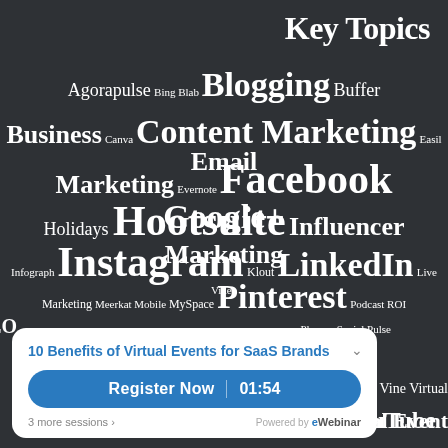Key Topics
[Figure (infographic): Word cloud on dark background featuring social media and marketing topics of varying sizes. Words include: Agorapulse, Bing, Blab, Blogging, Buffer, Business, Canva, Content Marketing, Easil, Email Marketing, Evernote, Facebook, Google+, Holidays, Hootsuite, Influencer Marketing, Infograph, Instagram, Klout, LinkedIn, Live Video, Marketing, Meerkat, Mobile, MySpace, Pinterest, Podcast, ROI, SEO, Planner, Social Pulse, Vine, Virtual, Virtual Event, YouTube, and more.]
10 Benefits of Virtual Events for SaaS Brands
Register Now  01:54
3 more sessions ›
Powered by eWebinar